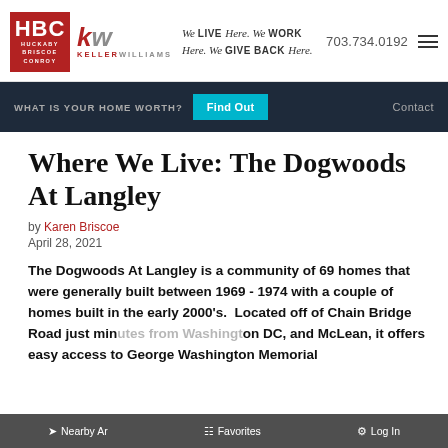We LIVE Here. We WORK Here. We GIVE BACK Here. | HBC Huckaby Briscoe Conroy | Keller Williams | 703.734.0192
WHAT IS YOUR HOME WORTH? Find Out | Contact
Where We Live: The Dogwoods At Langley
by Karen Briscoe
April 28, 2021
The Dogwoods At Langley is a community of 69 homes that were generally built between 1969 - 1974 with a couple of homes built in the early 2000's. Located off of Chain Bridge Road just minutes from Washington DC, and McLean, it offers easy access to George Washington Memorial